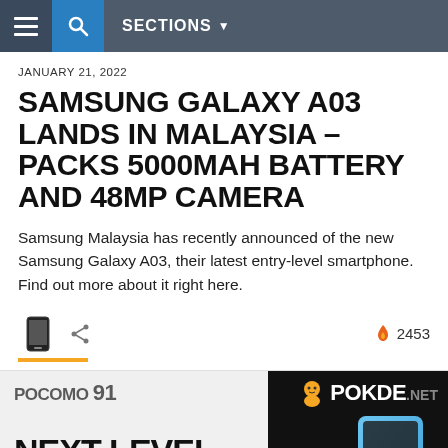SECTIONS
JANUARY 21, 2022
SAMSUNG GALAXY A03 LANDS IN MALAYSIA – PACKS 5000MAH BATTERY AND 48MP CAMERA
Samsung Malaysia has recently announced of the new Samsung Galaxy A03, their latest entry-level smartphone. Find out more about it right here.
[Figure (screenshot): Action bar with phone icon, share icon, and fire/popularity count of 2453]
[Figure (screenshot): Advertisement banner: Poco F4 Next-Level Power with Snapdragon 680 6nm Processor and 33W Dart Charge, alongside Pokde.net logo and blue smartphone image on dark background]